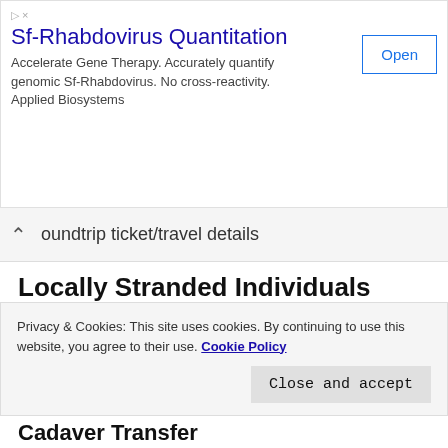[Figure (screenshot): Advertisement banner for Sf-Rhabdovirus Quantitation by Applied Biosystems with an 'Open' button]
oundtrip ticket/travel details
Locally Stranded Individuals (LSIs)
RT-PCR Negative results (tests must have been taken 3 days before date of travel), and
Letter of Coordination from the Barangay in Cebu City, and
Joint Task Force (JTF) COVID Shield Travel
Privacy & Cookies: This site uses cookies. By continuing to use this website, you agree to their use. Cookie Policy
Cadaver Transfer